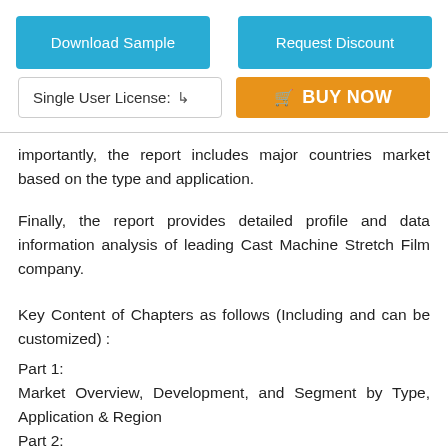[Figure (other): Two blue call-to-action buttons: 'Download Sample' and 'Request Discount']
[Figure (other): License selector dropdown labeled 'Single User License:' and an orange 'BUY NOW' button with cart icon]
importantly, the report includes major countries market based on the type and application.
Finally, the report provides detailed profile and data information analysis of leading Cast Machine Stretch Film company.
Key Content of Chapters as follows (Including and can be customized) :
Part 1:
Market Overview, Development, and Segment by Type, Application & Region
Part 2: